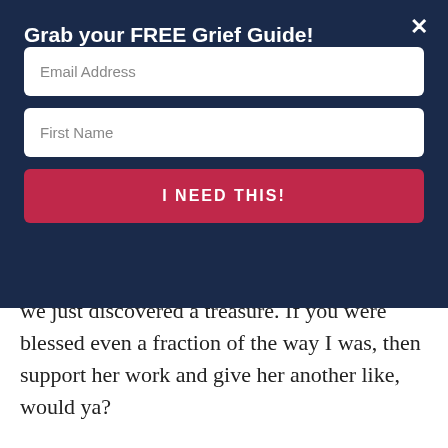Grab your FREE Grief Guide!
Email Address
First Name
I NEED THIS!
we just discovered a treasure. If you were blessed even a fraction of the way I was, then support her work and give her another like, would ya?
Peace be with you, friend. Next time, I'm looking forward to telling you how God answered that